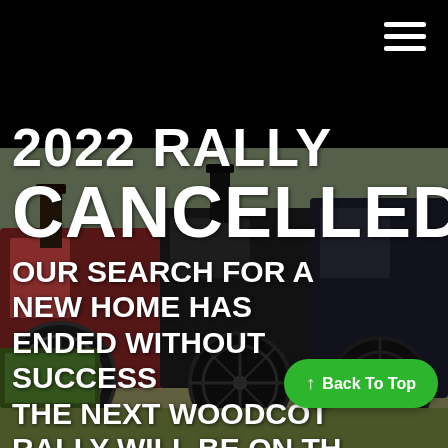[Figure (photo): Background photo of vintage steam traction engines parked at a rally, with dark overlaid text. A black header bar sits at the top of the page with a hamburger menu icon in the top right corner.]
2022 RALLY CANCELLED!
OUR SEARCH FOR A NEW HOME HAS ENDED WITHOUT SUCCESS THE NEXT WOODCOT RALLY WILL BE ON THE 8TH/9TH JULY 2023